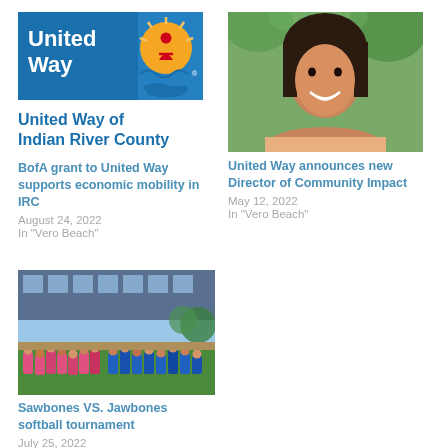[Figure (logo): United Way of Indian River County logo with blue background, text 'United Way' and circular icon with person and wave imagery]
United Way of Indian River County
BofA grant to United Way supports economic mobility in IRC
August 24, 2022
In "Vero Beach"
[Figure (photo): Headshot photo of a smiling woman with dark hair against green foliage background]
United Way announces new Director of Community Impact
May 12, 2022
In "Vero Beach"
[Figure (photo): Group photo of softball teams in pink and blue jerseys at a baseball stadium]
Sawbones VS. Jawbones softball tournament
July 25, 2022
In "Vero Beach"